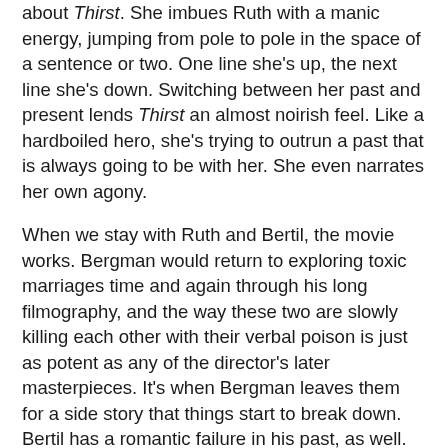about Thirst. She imbues Ruth with a manic energy, jumping from pole to pole in the space of a sentence or two. One line she's up, the next line she's down. Switching between her past and present lends Thirst an almost noirish feel. Like a hardboiled hero, she's trying to outrun a past that is always going to be with her. She even narrates her own agony.
When we stay with Ruth and Bertil, the movie works. Bergman would return to exploring toxic marriages time and again through his long filmography, and the way these two are slowly killing each other with their verbal poison is just as potent as any of the director's later masterpieces. It's when Bergman leaves them for a side story that things start to break down. Bertil has a romantic failure in his past, as well. He was involved with a widow named Viola (Tengroth), whose physical illness seems little more than a way to mask her greater problems. There are incisive parallels to be drawn between Bertil's two lovers, showing his tendency to fall in love with damaged women; however, instead of weaving his past into the main story the way they did with Ruth's flashbacks, Bergman and his writers instead decide to show Viola's present. In three long segments, they show